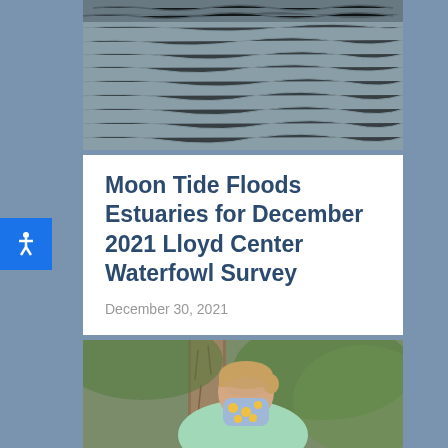[Figure (photo): Aerial or distant water surface photograph showing rippling water texture, likely an estuary or tidal area]
Moon Tide Floods Estuaries for December 2021 Lloyd Center Waterfowl Survey
December 30, 2021
[Figure (photo): Woman wearing a floral/sunflower face mask in mint green shirt, outdoors near trees, looking down]